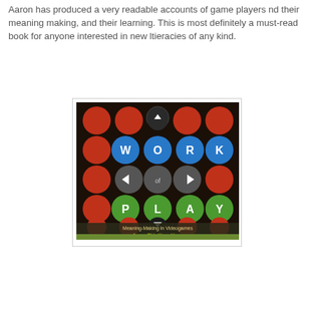Aaron has produced a very readable accounts of game players nd their meaning making, and their learning. This is most definitely a must-read book for anyone interested in new ltieracies of any kind.
[Figure (photo): Book cover of 'The Work of Play: Meaning-Making in Videogames' by Aaron Chia Yuan Hung. The cover shows colorful circular game tokens/buttons on a dark background spelling out WORK and PLAY in blue and green circles respectively.]
Colin and/or Michele at 11:07 am   No comments:
Monday, June 13, 2011
A literacy to die for